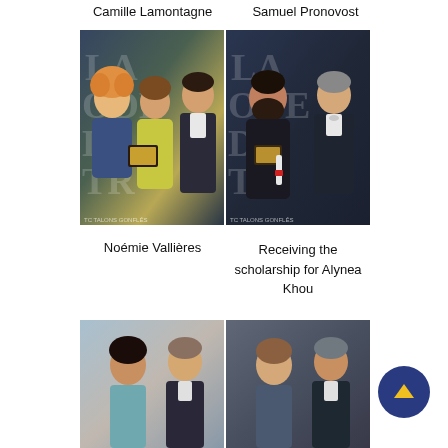Camille Lamontagne
Samuel Pronovost
[Figure (photo): Two award ceremony photos side by side: left shows three people (curly-haired man, young woman in floral dress, taller man) holding a plaque; right shows two men in formal attire holding an award plaque and scroll with red ribbon. Background shows 'LA ODE DE TR' lettering.]
Noémie Vallières
Receiving the scholarship for Alynea Khou
[Figure (photo): Two partially visible award ceremony photos side by side: left shows a woman with dark hair and a man smiling; right shows a woman with a man smiling, blue/grey tones.]